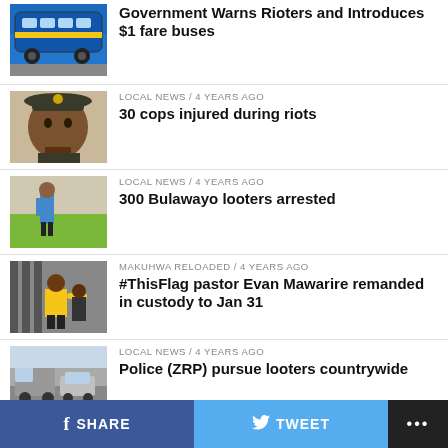[Figure (photo): Blue and yellow bus]
Government Warns Rioters and Introduces $1 fare buses
[Figure (photo): Police officer in uniform and cap]
LOCAL NEWS / 4 years ago
30 cops injured during riots
[Figure (photo): Person near a wall on grass]
LOCAL NEWS / 4 years ago
300 Bulawayo looters arrested
[Figure (photo): Man in yellow jacket near bars]
MAKUHWA RELOADED / 4 years ago
#ThisFlag pastor Evan Mawarire remanded in custody to Jan 31
[Figure (photo): Police pursuing on street]
LOCAL NEWS / 4 years ago
Police (ZRP) pursue looters countrywide
SHARE   TWEET   ...